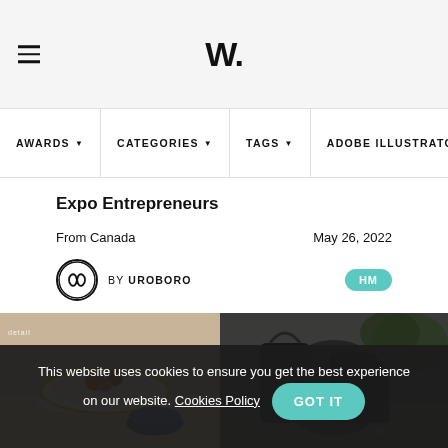W.
AWARDS ▼   CATEGORIES ▼   TAGS ▼   ADOBE ILLUSTRATOR
Expo Entrepreneurs
From Canada
May 26, 2022
BY UROBORO
HM
[Figure (photo): Two product photos side by side: left shows a ceramic bowl with fruits/nuts on a light beige background; right shows a dark outdoor scene with bags/accessories.]
This website uses cookies to ensure you get the best experience on our website. Cookies Policy  GOT IT